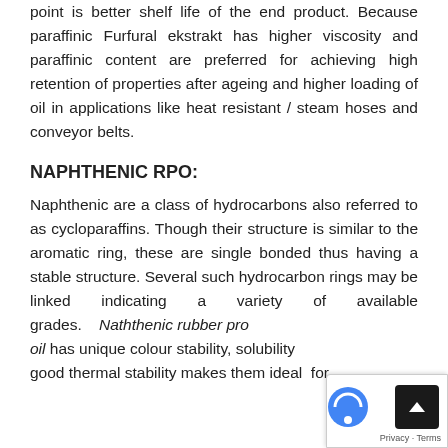point is better shelf life of the end product. Because paraffinic Furfural ekstrakt has higher viscosity and paraffinic content are preferred for achieving high retention of properties after ageing and higher loading of oil in applications like heat resistant / steam hoses and conveyor belts.
NAPHTHENIC RPO:
Naphthenic are a class of hydrocarbons also referred to as cycloparaffins. Though their structure is similar to the aromatic ring, these are single bonded thus having a stable structure. Several such hydrocarbon rings may be linked indicating a variety of available grades. Naththenic rubber processing oil has unique colour stability, solubility and good thermal stability makes them ideal for